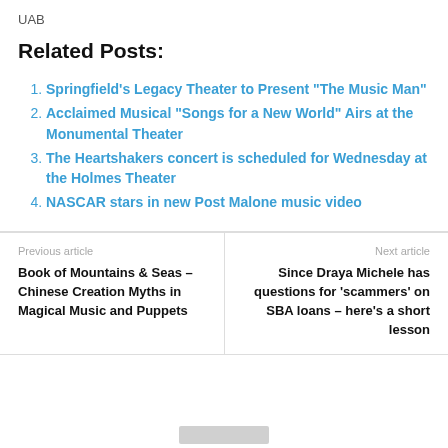UAB
Related Posts:
Springfield's Legacy Theater to Present “The Music Man”
Acclaimed Musical “Songs for a New World” Airs at the Monumental Theater
The Heartshakers concert is scheduled for Wednesday at the Holmes Theater
NASCAR stars in new Post Malone music video
Previous article
Book of Mountains & Seas – Chinese Creation Myths in Magical Music and Puppets
Next article
Since Draya Michele has questions for ‘scammers’ on SBA loans – here’s a short lesson